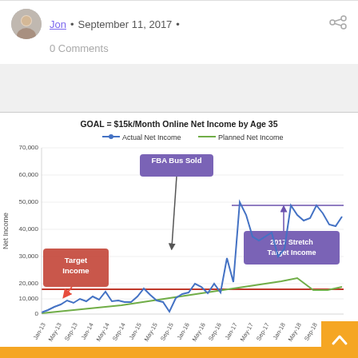Jon • September 11, 2017 •
0 Comments
[Figure (line-chart): GOAL = $15k/Month Online Net Income by Age 35]